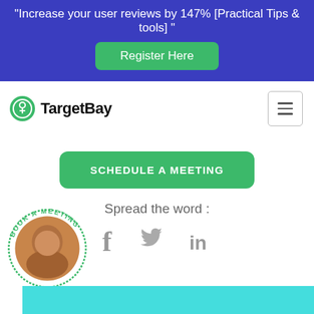"Increase your user reviews by 147% [Practical Tips & tools] "
[Figure (other): Register Here button (green rounded rectangle)]
[Figure (logo): TargetBay logo with green circular brain icon and bold text TargetBay]
[Figure (other): Hamburger menu button (three horizontal lines in bordered square)]
[Figure (other): SCHEDULE A MEETING green rounded button]
Spread the word :
[Figure (other): Social media icons: Facebook (f), Twitter (bird), LinkedIn (in) in gray]
[Figure (other): Circular Book a Meeting badge with woman photo and text BOOK A MEETING around the circle]